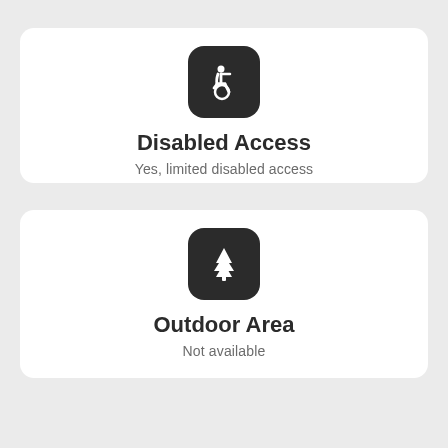[Figure (infographic): Card with wheelchair accessibility icon (dark rounded square) labeled Disabled Access]
Disabled Access
Yes, limited disabled access
[Figure (infographic): Card with tree/outdoor icon (dark rounded square) labeled Outdoor Area]
Outdoor Area
Not available